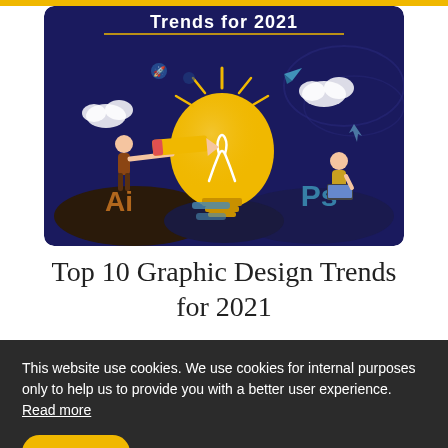[Figure (illustration): Graphic design trends for 2021 illustration: dark navy blue background with a large glowing yellow lightbulb in the center, a person holding a giant pencil pointing at the bulb on the left, a person sitting on a rock with a laptop on the right, clouds, design tool icons (rocket, pen, paper plane), and Adobe Illustrator 'Ai' and Photoshop 'Ps' logos at the bottom. Text 'Trends for 2021' at the top in white/yellow.]
Top 10 Graphic Design Trends for 2021
This website use cookies. We use cookies for internal purposes only to help us to provide you with a better user experience.  Read more